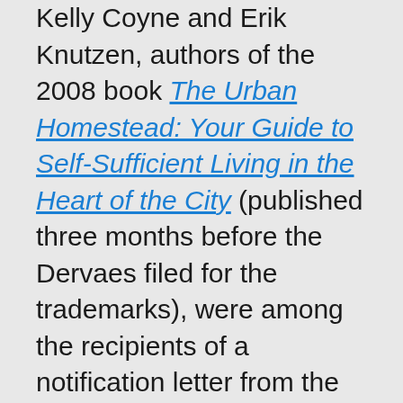Kelly Coyne and Erik Knutzen, authors of the 2008 book The Urban Homestead: Your Guide to Self-Sufficient Living in the Heart of the City (published three months before the Dervaes filed for the trademarks), were among the recipients of a notification letter from the Dervaes. Corynne McSherry, Intellectual Property Director of the Electronic Frontier Foundation (EFF), is representing the authors and responded to the Dervaes Institute with a letter warning that they should back down from the trademark complaint and that EFF reserves the right to take legal action should it be necessary. McSherry's letter